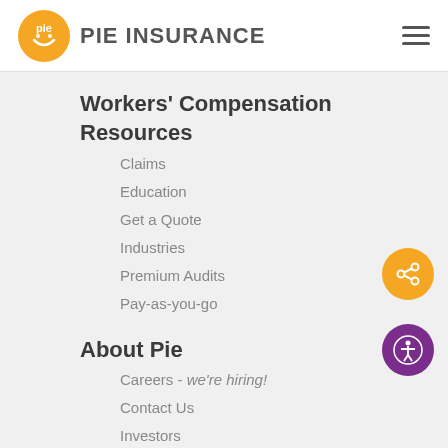[Figure (logo): Pie Insurance logo: orange circle with 'pie' text and smiley face, followed by 'PIE INSURANCE' bold text]
Workers' Compensation Resources
Claims
Education
Get a Quote
Industries
Premium Audits
Pay-as-you-go
About Pie
Careers - we're hiring!
Contact Us
Investors